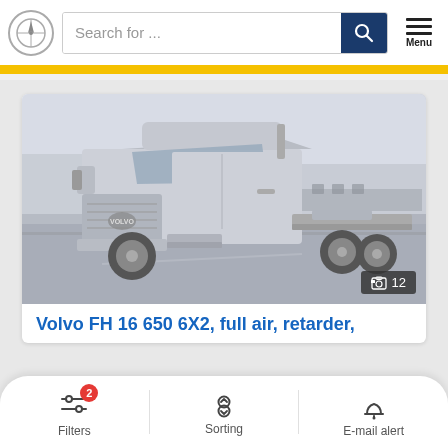Search for ...
[Figure (photo): White Volvo FH 16 650 6X2 truck photographed from front-left angle in a parking lot]
Volvo FH 16 650 6X2, full air, retarder,
Filters | Sorting | E-mail alert